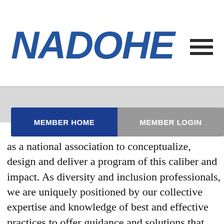[Figure (logo): NADOHE logo in bold blue italic text]
MEMBER HOME
MEMBER LOGIN
as a national association to conceptualize, design and deliver a program of this caliber and impact. As diversity and inclusion professionals, we are uniquely positioned by our collective expertise and knowledge of best and effective practices to offer guidance and solutions that will move our college campuses and society toward becoming truly more equitable and inclusive communities."